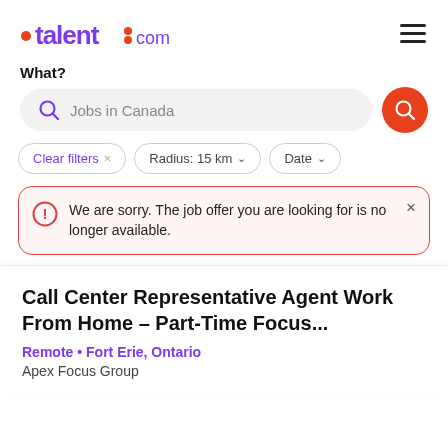[Figure (logo): talent.com logo with orange dot before 'talent' and orange dot before 'com']
What?
Jobs in Canada
Clear filters × Radius: 15 km ∨ Date ∨
We are sorry. The job offer you are looking for is no longer available.
Call Center Representative Agent Work From Home - Part-Time Focus...
Remote • Fort Erie, Ontario
Apex Focus Group